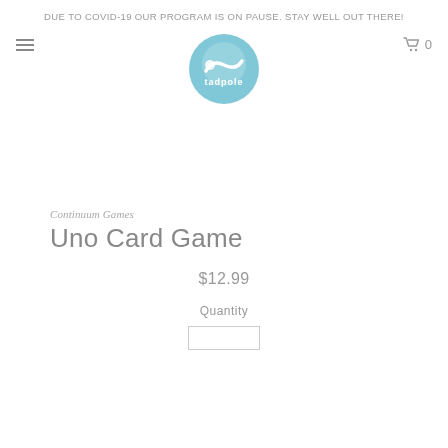DUE TO COVID-19 OUR PROGRAM IS ON PAUSE. STAY WELL OUT THERE!
[Figure (logo): Tadpole logo: light blue circle with a stylized wave/tadpole shape and the word 'tadpole' in white text]
Continuum Games
Uno Card Game
$12.99
Quantity